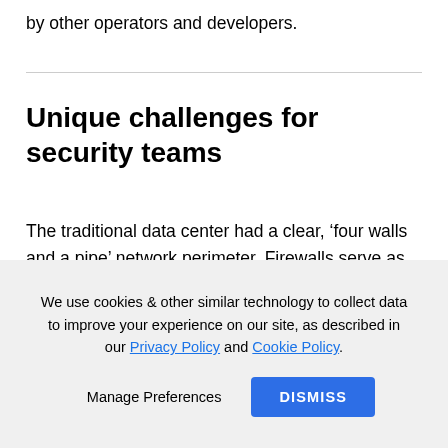by other operators and developers.
Unique challenges for security teams
The traditional data center had a clear, ‘four walls and a pipe’ network perimeter. Firewalls serve as bulkheads between frontend, user-facing applications and backend databases. Anyone
We use cookies & other similar technology to collect data to improve your experience on our site, as described in our Privacy Policy and Cookie Policy.
Manage Preferences   DISMISS